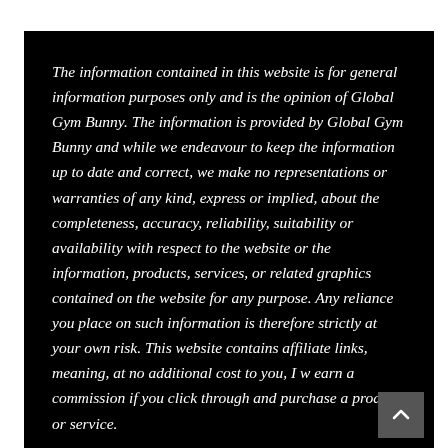The information contained in this website is for general information purposes only and is the opinion of Global Gym Bunny. The information is provided by Global Gym Bunny and while we endeavour to keep the information up to date and correct, we make no representations or warranties of any kind, express or implied, about the completeness, accuracy, reliability, suitability or availability with respect to the website or the information, products, services, or related graphics contained on the website for any purpose. Any reliance you place on such information is therefore strictly at your own risk. This website contains affiliate links, meaning, at no additional cost to you, I will earn a commission if you click through and purchase a product or service.